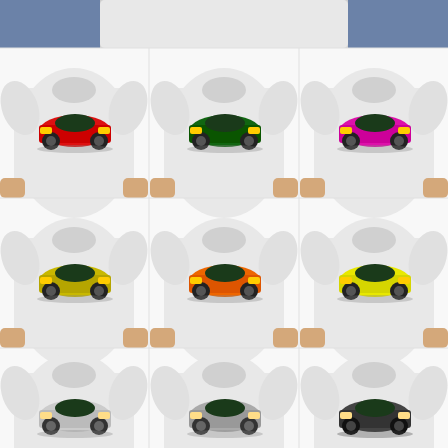[Figure (photo): Grid of 9 white t-shirts (3x3) each featuring a front-view sports car graphic in different colors: red, green, pink (top row); gold/yellow, orange, yellow (middle row); white/gray, silver/gray, dark gray/black (bottom row, partially visible). A partial 10th shirt is visible at top.]